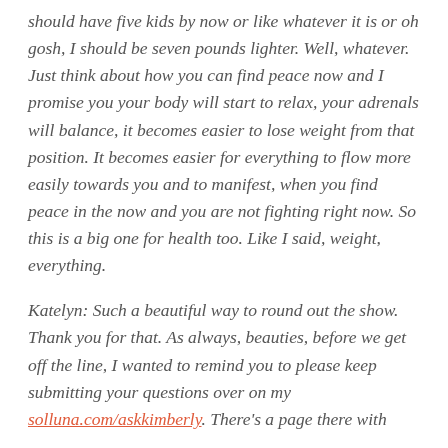should have five kids by now or like whatever it is or oh gosh, I should be seven pounds lighter. Well, whatever. Just think about how you can find peace now and I promise you your body will start to relax, your adrenals will balance, it becomes easier to lose weight from that position. It becomes easier for everything to flow more easily towards you and to manifest, when you find peace in the now and you are not fighting right now. So this is a big one for health too. Like I said, weight, everything.
Katelyn: Such a beautiful way to round out the show. Thank you for that. As always, beauties, before we get off the line, I wanted to remind you to please keep submitting your questions over on my solluna.com/askkimberly. There's a page there with